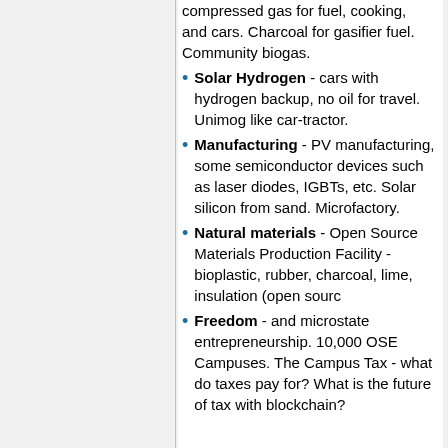compressed gas for fuel, cooking, and cars. Charcoal for gasifier fuel. Community biogas.
Solar Hydrogen - cars with hydrogen backup, no oil for travel. Unimog like car-tractor.
Manufacturing - PV manufacturing, some semiconductor devices such as laser diodes, IGBTs, etc. Solar silicon from sand. Microfactory.
Natural materials - Open Source Materials Production Facility - bioplastic, rubber, charcoal, lime, insulation (open sourc
Freedom - and microstate entrepreneurship. 10,000 OSE Campuses. The Campus Tax - what do taxes pay for? What is the future of tax with blockchain?